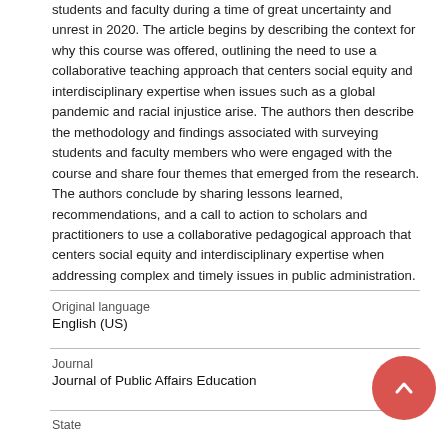students and faculty during a time of great uncertainty and unrest in 2020. The article begins by describing the context for why this course was offered, outlining the need to use a collaborative teaching approach that centers social equity and interdisciplinary expertise when issues such as a global pandemic and racial injustice arise. The authors then describe the methodology and findings associated with surveying students and faculty members who were engaged with the course and share four themes that emerged from the research. The authors conclude by sharing lessons learned, recommendations, and a call to action to scholars and practitioners to use a collaborative pedagogical approach that centers social equity and interdisciplinary expertise when addressing complex and timely issues in public administration.
| Field | Value |
| --- | --- |
| Original language | English (US) |
| Journal | Journal of Public Affairs Education |
| State |  |